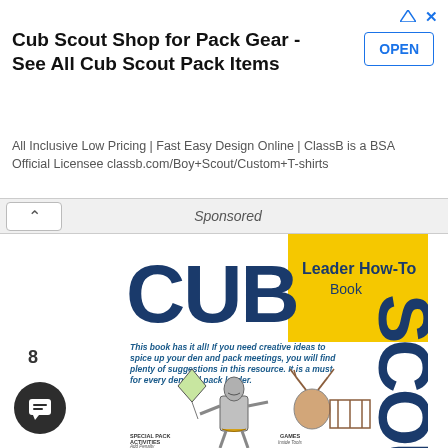[Figure (screenshot): Advertisement banner for Cub Scout Shop showing title text, OPEN button, and description text]
Cub Scout Shop for Pack Gear - See All Cub Scout Pack Items
All Inclusive Low Pricing | Fast Easy Design Online | ClassB is a BSA Official Licensee classb.com/Boy+Scout/Custom+T-shirts
Sponsored
[Figure (illustration): Cover of the Cub Scout Leader How-To Book showing large CUB SCOUT text, yellow background panel with Leader How-To Book text, italic blue description text, and illustrated characters including a tin man scout with kite, deer character, and small labels for Special Pack Activities, Games, Paddle Master, and Outdoors]
8